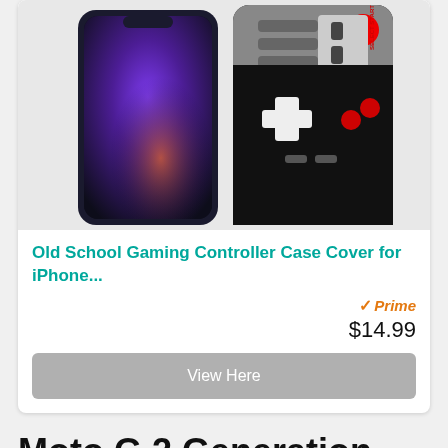[Figure (photo): Two phone cases side by side: left is a smartphone with colorful abstract purple/blue screen, right is a black NES gaming controller design case with D-pad and buttons]
Old School Gaming Controller Case Cover for iPhone...
[Figure (logo): Amazon Prime logo with orange checkmark and italic Prime text]
$14.99
View Here
Moto G 2 Generation